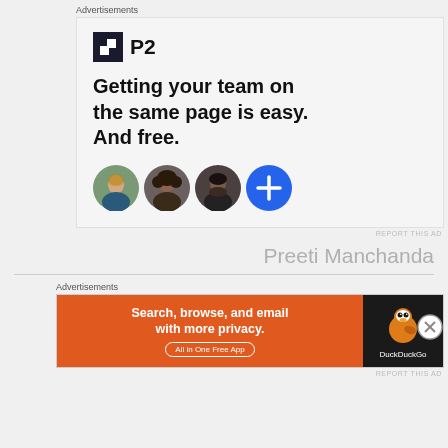Advertisements
[Figure (illustration): P2 advertisement with logo, headline 'Getting your team on the same page is easy. And free.' and three person avatars plus a blue plus button]
REPORT THIS AD
Preeti Manchanda
Advertisements
[Figure (illustration): DuckDuckGo advertisement with orange background: 'Search, browse, and email with more privacy. All in One Free App' with DuckDuckGo logo on dark background]